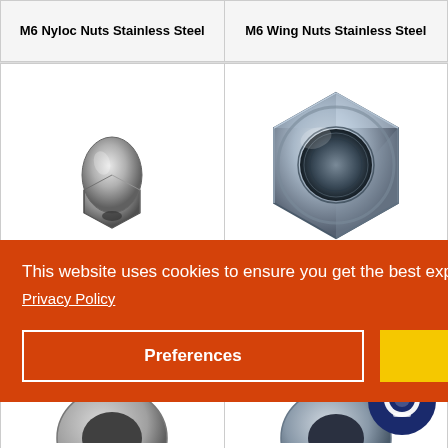M6 Nyloc Nuts Stainless Steel
M6 Wing Nuts Stainless Steel
[Figure (photo): Photo of a dome/acorn nut, silver metallic, showing hexagonal base with rounded dome top]
[Figure (photo): Photo of a large hexagonal half nut/full nut, zinc plated silver, front-facing view showing threaded center hole]
...alf Nuts ...teel
[Figure (photo): Bottom row left card showing partial view of a washer or ring nut]
[Figure (photo): Bottom row right card showing partial washer and chat widget icon]
This website uses cookies to ensure you get the best experience on our website.
Privacy Policy
Preferences
Accept
Close